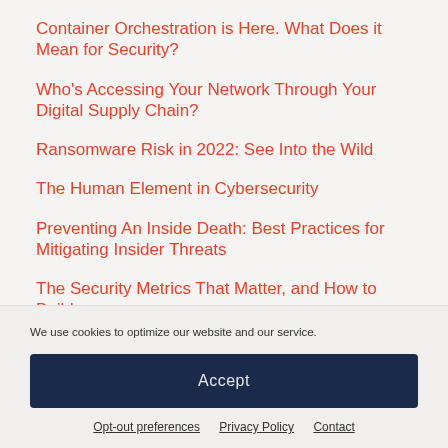Container Orchestration is Here. What Does it Mean for Security?
Who's Accessing Your Network Through Your Digital Supply Chain?
Ransomware Risk in 2022: See Into the Wild
The Human Element in Cybersecurity
Preventing An Inside Death: Best Practices for Mitigating Insider Threats
The Security Metrics That Matter, and How to Build
We use cookies to optimize our website and our service.
Accept
Opt-out preferences   Privacy Policy   Contact